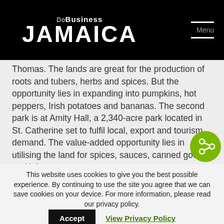DoBusiness JAMAICA | Menu
Thomas. The lands are great for the production of roots and tubers, herbs and spices. But the opportunity lies in expanding into pumpkins, hot peppers, Irish potatoes and bananas. The second park is at Amity Hall, a 2,340-acre park located in St. Catherine set to fulfil local, export and tourism demand. The value-added opportunity lies in utilising the land for spices, sauces, canned goods and juic...
This website uses cookies to give you the best possible experience. By continuing to use the site you agree that we can save cookies on your device. For more information, please read our privacy policy.
Accept | View Privacy Policy